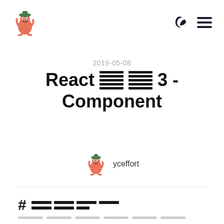yceffort blog logo with moon and hamburger navigation icons
2019-05-08
React [redacted] 3 - Component
yceffort
# [redacted]
[redacted lines at bottom]